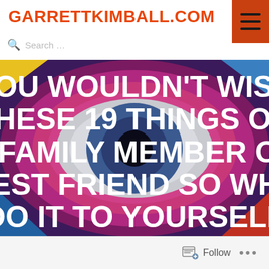GARRETTKIMBALL.COM
Search ...
[Figure (illustration): Psychedelic eye artwork background with pink, magenta, blue and purple concentric circular patterns. Bold white uppercase text overlay reads: YOU WOULDN'T WISH THESE 19 THINGS ON A FAMILY MEMBER OR BEST FRIEND SO WHY DO IT TO YOURSELF]
Follow ...